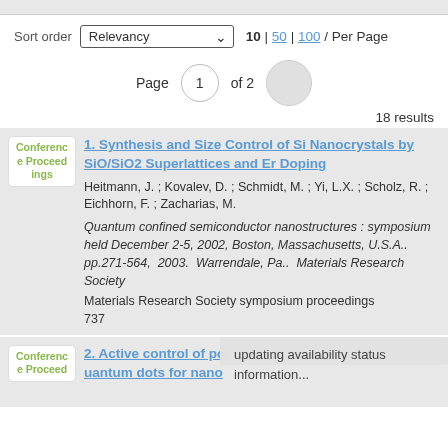Sort order  Relevancy  10 | 50 | 100 / Per Page
Page 1 of 2
18 results
1. Synthesis and Size Control of Si Nanocrystals by SiO/SiO2 Superlattices and Er Doping
Heitmann, J. ; Kovalev, D. ; Schmidt, M. ; Yi, L.X. ; Scholz, R. ; Eichhorn, F. ; Zacharias, M.
Quantum confined semiconductor nanostructures : symposium held December 2-5, 2002, Boston, Massachusetts, U.S.A..  pp.271-564,  2003.  Warrendale, Pa..  Materials Research Society
Materials Research Society symposium proceedings
737
2. Active control of po uantum dots for nano
updating availability status information...